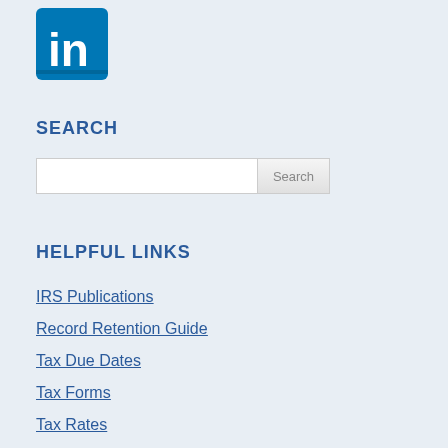[Figure (logo): LinkedIn logo — white 'in' letters on blue rounded square background]
SEARCH
Search input box with Search button
HELPFUL LINKS
IRS Publications
Record Retention Guide
Tax Due Dates
Tax Forms
Tax Rates
Where is my refund?